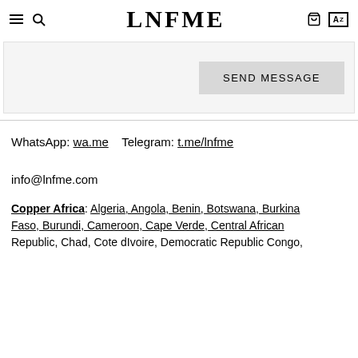LNFME
[Figure (screenshot): Send message form area with a SEND MESSAGE button]
WhatsApp: wa.me   Telegram: t.me/lnfme
info@lnfme.com
Copper Africa: Algeria, Angola, Benin, Botswana, Burkina Faso, Burundi, Cameroon, Cape Verde, Central African Republic, Chad, Cote dIvoire, Democratic Republic Congo,